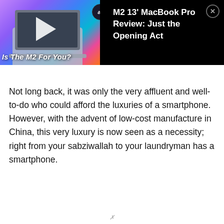[Figure (screenshot): Video thumbnail showing a MacBook laptop on a colorful gradient background with a play button, text overlay 'Is The M2 For You?', an 'ai' badge, and a video title panel on black background reading 'M2 13' MacBook Pro Review: Just the Opening Act' with a close button]
Not long back, it was only the very affluent and well-to-do who could afford the luxuries of a smartphone. However, with the advent of low-cost manufacture in China, this very luxury is now seen as a necessity; right from your sabziwallah to your laundryman has a smartphone.